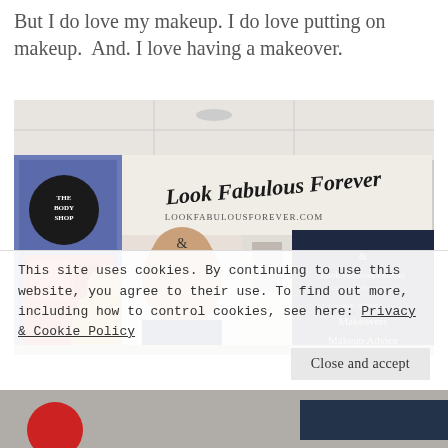But I do love my makeup. I do love putting on makeup.  And. I love having a makeover.
[Figure (photo): Photo of Look Fabulous Forever makeup counter/pop-up shop in a shopping centre, showing the brand signage 'Look Fabulous Forever' and 'lookfabulousforever.com', a navy display board listing 'Makeovers' and 'Makeup Advice', The Body Shop visible in the background, and a woman with blonde hair in the foreground.]
This site uses cookies. By continuing to use this website, you agree to their use. To find out more, including how to control cookies, see here: Privacy & Cookie Policy
Close and accept